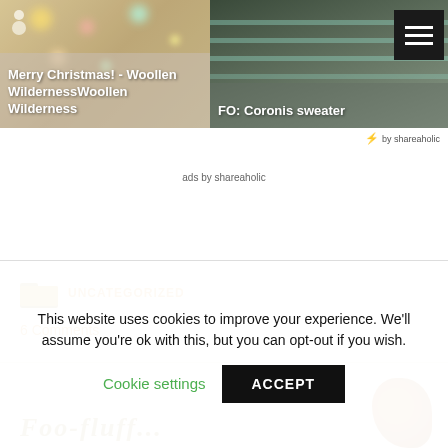[Figure (photo): Christmas bokeh lights photo with text overlay: 'Merry Christmas! - Woollen WildernessWoollen Wilderness']
[Figure (photo): Photo of person wearing striped sweater with text overlay: 'FO: Coronis sweater' and hamburger menu icon]
by shareaholic
ads by shareaholic
UNCATEGORIZED
6 Comments
[Figure (photo): Partial view of a baked good or cookie at bottom right corner]
This website uses cookies to improve your experience. We'll assume you're ok with this, but you can opt-out if you wish.
Cookie settings
ACCEPT